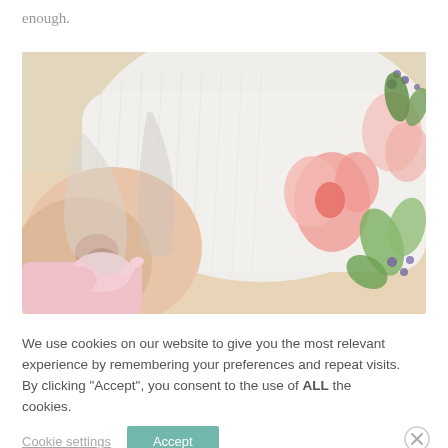enough.
[Figure (photo): Close-up photo of a newborn baby wrapped in a white floral muslin swaddle blanket with pink flowers and green leaves. The baby's face is partially visible and a small hand is visible in pink clothing.]
We use cookies on our website to give you the most relevant experience by remembering your preferences and repeat visits. By clicking "Accept", you consent to the use of ALL the cookies.
Cookie settings   Accept